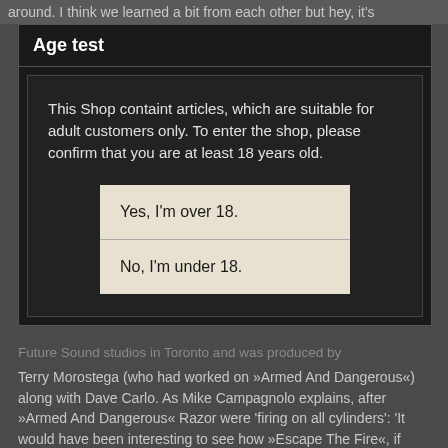around. I think we learned a bit from each other but hey, it's
Age test
This Shop containt articles, which are suitable for adult customers only. To enter the shop, please confirm that you are at least 18 years old.
Yes, I'm over 18.
No, I'm under 18.
Future Sound studios in Toronto and was produced by Terry Morostega (who had worked on »Armed And Dangerous«) along with Dave Carlo. As Mike Campagnolo explains, after »Armed And Dangerous« Razor were 'firing on all cylinders': 'It would have been interesting to see how »Escape The Fire«, if released in its original form, would have been received by metal fans. It would've probably pushed some of the »Executioner's Song« material onto »Evil Invaders« and who knows if it would have altered the progression of the band in any way?'